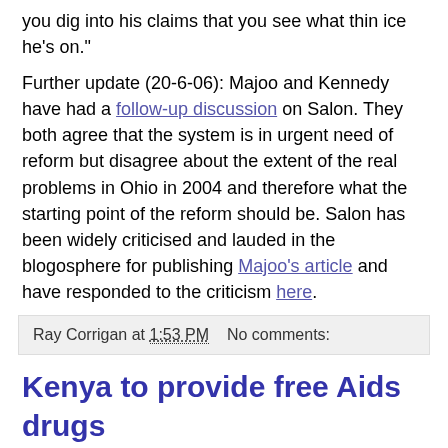you dig into his claims that you see what thin ice he's on."
Further update (20-6-06): Majoo and Kennedy have had a follow-up discussion on Salon. They both agree that the system is in urgent need of reform but disagree about the extent of the real problems in Ohio in 2004 and therefore what the starting point of the reform should be. Salon has been widely criticised and lauded in the blogosphere for publishing Majoo's article and have responded to the criticism here.
Ray Corrigan at 1:53 PM   No comments:
Kenya to provide free Aids drugs
From the BBC: Kenya to provide free Aids drugs
Ray Corrigan at 1:45 PM   No comments: